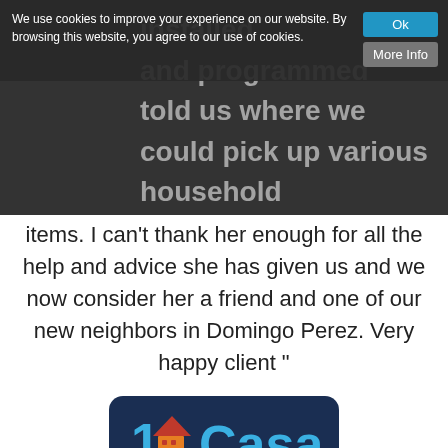We use cookies to improve your experience on our website. By browsing this website, you agree to our use of cookies.
installed and programmed everything, and told us where we could pick up various household items. I can't thank her enough for all the help and advice she has given us and we now consider her a friend and one of our new neighbors in Domingo Perez. Very happy client "
[Figure (logo): 1Casa real estate logo: dark navy blue rounded rectangle with '1' and a house icon and 'Casa' in blue text]
John & Joyce Payne
" Sabrina is well suited to the role of a